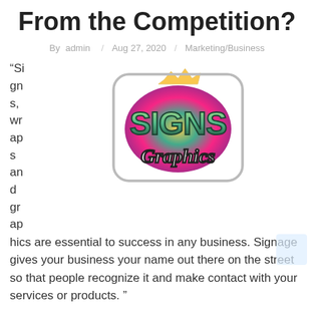From the Competition?
By admin / Aug 27, 2020 / Marketing/Business
[Figure (logo): Signs, Wraps and Graphics colorful graffiti-style logo with bold green 'SIGNS' text and script 'Graphics' lettering on a rounded white badge with colorful splatter background]
“Signs, wraps and graphics are essential to success in any business. Signage gives your business your name out there on the street so that people recognize it and make contact with your services or products. ”
Signs, wraps and graphics help you make a lasting